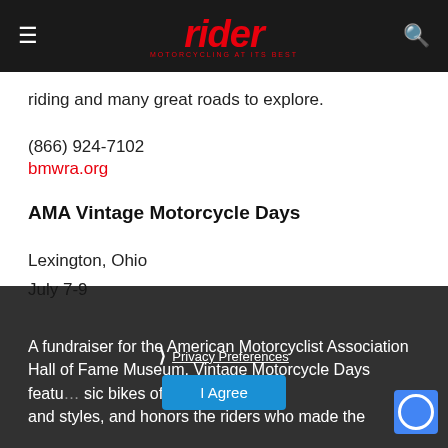rider — MOTORCYCLING AT ITS BEST
riding and many great roads to explore.
(866) 924-7102
bmwra.org
AMA Vintage Motorcycle Days
Lexington, Ohio
July 7-9
A fundraiser for the American Motorcyclist Association Hall of Fame Museum, Vintage Motorcycle Days featu... sic bikes of all n and styles, and honors the riders who made the...
Privacy Preferences
I Agree